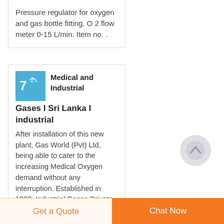Pressure regulator for oxygen and gas bottle fitting. O 2 flow meter 0-15 L/min. Item no. .
Medical and Industrial Gases I Sri Lanka I industrial
After installation of this new plant, Gas World (Pvt) Ltd, being able to cater to the increasing Medical Oxygen demand without any interruption. Established in 1992, Industrial Gases Private
Get a Quote
Chat Now